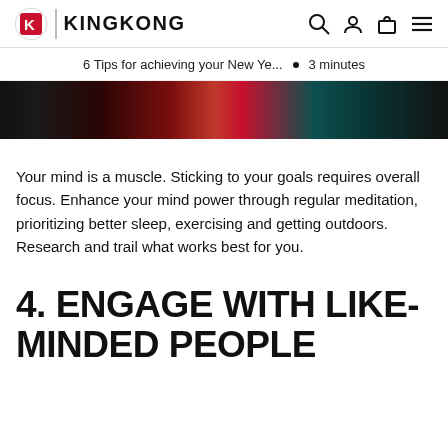KINGKONG
6 Tips for achieving your New Ye...  •  3 minutes
[Figure (photo): Dark photo strip showing people exercising, with red and teal colors visible]
Your mind is a muscle. Sticking to your goals requires overall focus. Enhance your mind power through regular meditation, prioritizing better sleep, exercising and getting outdoors. Research and trail what works best for you.
4. ENGAGE WITH LIKE-MINDED PEOPLE